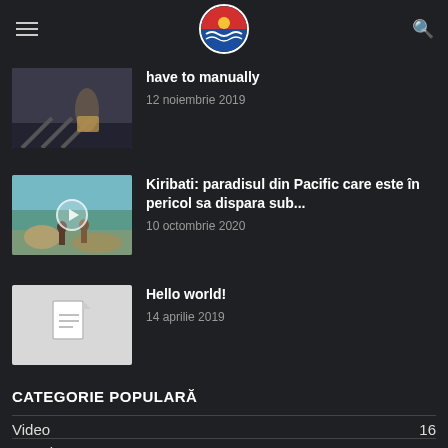have to manually
12 noiembrie 2019
Kiribati: paradisul din Pacific care este în pericol sa dispara sub...
10 octombrie 2020
Hello world!
14 aprilie 2019
CATEGORIE POPULARĂ
Video  16
Travel  15